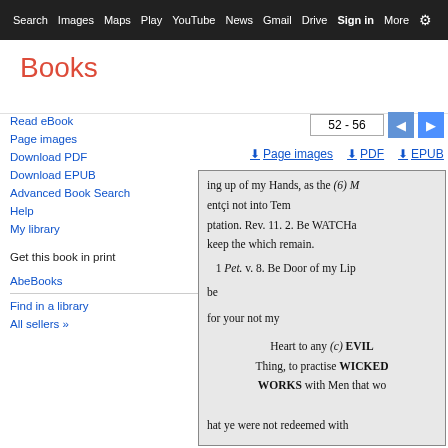Search  Images  Maps  Play  YouTube  News  Gmail  Drive  More  Sign in
Books
52 - 56
Page images  PDF  EPUB
Read eBook
Page images
Download PDF
Download EPUB
Advanced Book Search
Help
My library
Get this book in print
AbeBooks
Find in a library
All sellers »
[Figure (screenshot): Scanned book page showing partial text: 'ing up of my Hands, as the (6) M', 'entçi not into Tem', 'ptation. Rev. 11. 2. Be WATCHa', 'keep the which remain.', '1 Pet. v. 8. Be Door of my Lip', 'be', 'for your not my', 'Heart to any (c) EVIL', 'Thing, to practise WICKED', 'WORKS with Men that wo', 'hat ye were not redeemed with']